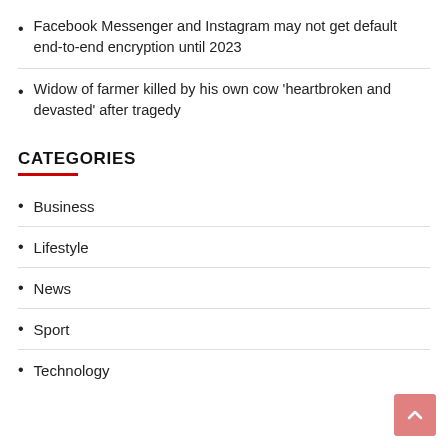Facebook Messenger and Instagram may not get default end-to-end encryption until 2023
Widow of farmer killed by his own cow ‘heartbroken and devasted’ after tragedy
CATEGORIES
Business
Lifestyle
News
Sport
Technology